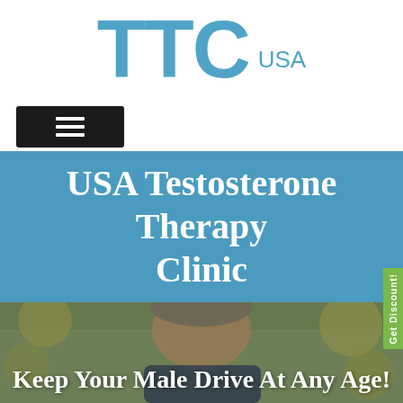[Figure (logo): TTC USA logo in blue text, large TTC with smaller USA beside it]
[Figure (other): Black hamburger menu button with three horizontal white lines]
USA Testosterone Therapy Clinic
[Figure (photo): Middle-aged man smiling outdoors with autumn foliage background, overlaid with text 'Keep Your Male Drive At Any Age!']
Keep Your Male Drive At Any Age!